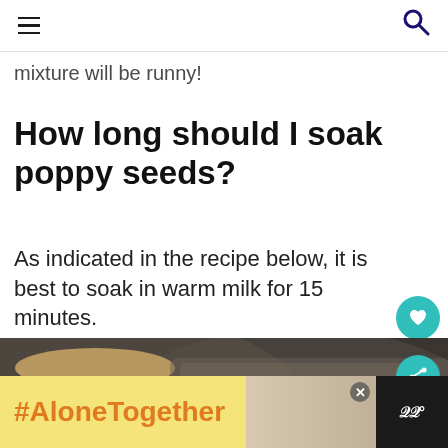☰  🔍
mixture will be runny!
How long should I soak poppy seeds?
As indicated in the recipe below, it is best to soak in warm milk for 15 minutes.
[Figure (photo): Close-up photo of sliced bread loaf, blurred background with bread texture visible]
WHAT'S NEXT → Apple Pear Lemongrass...
#AloneTogether